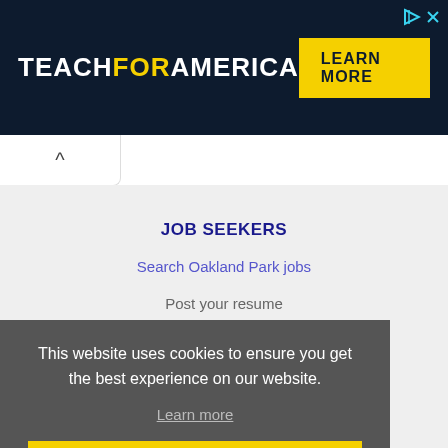[Figure (infographic): Teach For America advertisement banner with dark navy background, white and yellow logo text, and a yellow LEARN MORE button]
JOB SEEKERS
Search Oakland Park jobs
Post your resume
Find jobs like this
This website uses cookies to ensure you get the best experience on our website.
Learn more
Got it!
EMPLOYERS
Post jobs
Search resumes